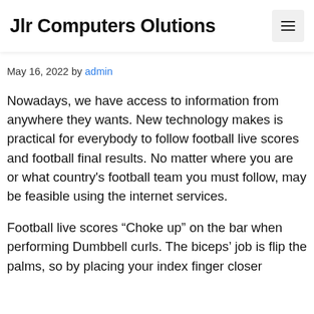Jlr Computers Olutions
May 16, 2022 by admin
Nowadays, we have access to information from anywhere they wants. New technology makes is practical for everybody to follow football live scores and football final results. No matter where you are or what country’s football team you must follow, may be feasible using the internet services.
Football live scores “Choke up” on the bar when performing Dumbbell curls. The biceps’ job is flip the palms, so by placing your index finger closer into the plate to the dumbbell, the bite will...